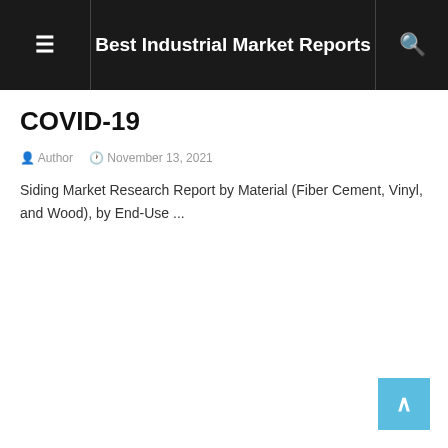Best Industrial Market Reports
COVID-19
Author  November 13, 2021
Siding Market Research Report by Material (Fiber Cement, Vinyl, and Wood), by End-Use ...